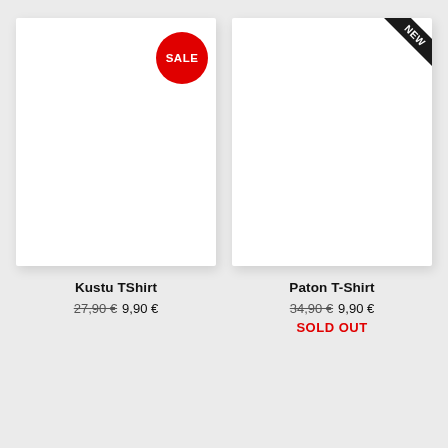[Figure (photo): White product image box for Kustu TShirt with red SALE badge]
Kustu TShirt
27,90 € 9,90 €
[Figure (photo): White product image box for Paton T-Shirt with NEW corner ribbon badge]
Paton T-Shirt
34,90 € 9,90 €
SOLD OUT